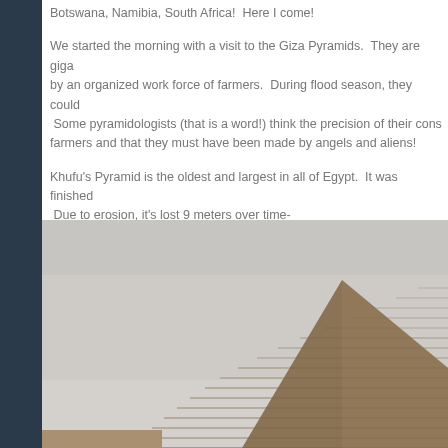Botswana, Namibia, South Africa!  Here I come!
We started the morning with a visit to the Giza Pyramids.  They are giga... by an organized work force of farmers.  During flood season, they could...  Some pyramidologists (that is a word!) think the precision of their cons... farmers and that they must have been made by angels and aliens!
Khufu's Pyramid is the oldest and largest in all of Egypt.  It was finished...  Due to erosion, it's lost 9 meters over time-
[Figure (photo): Close-up photograph of the Giza pyramid showing the stone block layers of the pyramid face against an overcast grey sky.]